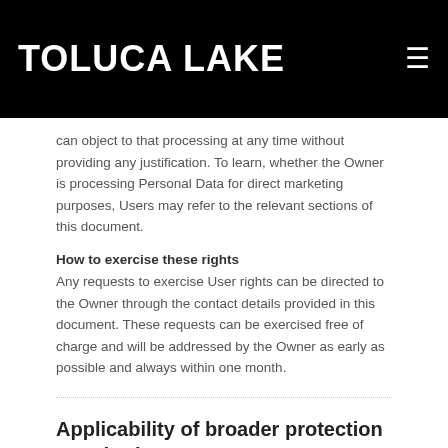TOLUCA LAKE
can object to that processing at any time without providing any justification. To learn, whether the Owner is processing Personal Data for direct marketing purposes, Users may refer to the relevant sections of this document.
How to exercise these rights
Any requests to exercise User rights can be directed to the Owner through the contact details provided in this document. These requests can be exercised free of charge and will be addressed by the Owner as early as possible and always within one month.
Applicability of broader protection standards
While most provisions of this document concern all Users, some provisions expressly only apply if the